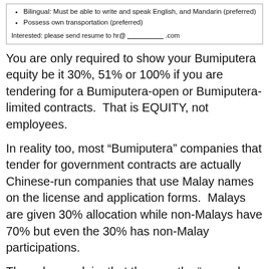Bilingual: Must be able to write and speak English, and Mandarin (preferred)
Possess own transportation (preferred)
Interested: please send resume to hr@ _________ .com
You are only required to show your Bumiputera equity be it 30%, 51% or 100% if you are tendering for a Bumiputera-open or Bumiputera-limited contracts.  That is EQUITY, not employees.
In reality too, most “Bumiputera” companies that tender for government contracts are actually Chinese-run companies that use Malay names on the license and application forms.  Malays are given 30% allocation while non-Malays have 70% but even the 30% has non-Malay participations.
They always claim that they are the “second-class” citizens of this country yet they are the ones who control the economy.